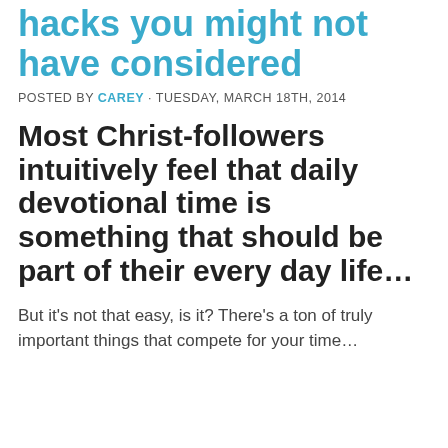hacks you might not have considered
POSTED BY CAREY · TUESDAY, MARCH 18TH, 2014
Most Christ-followers intuitively feel that daily devotional time is something that should be part of their every day life…
But it's not that easy, is it? There's a ton of truly important things that compete for your time…